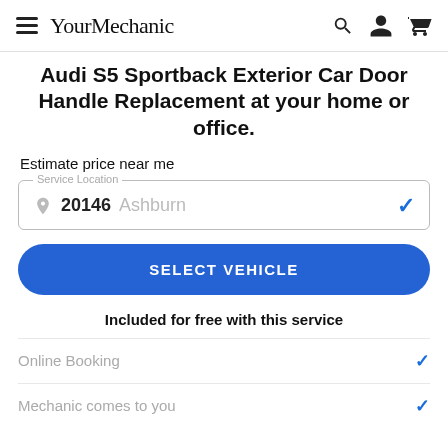YourMechanic
Audi S5 Sportback Exterior Car Door Handle Replacement at your home or office.
Estimate price near me
Service Location — 20146  Ashburn
SELECT VEHICLE
Included for free with this service
Online Booking
Mechanic comes to you